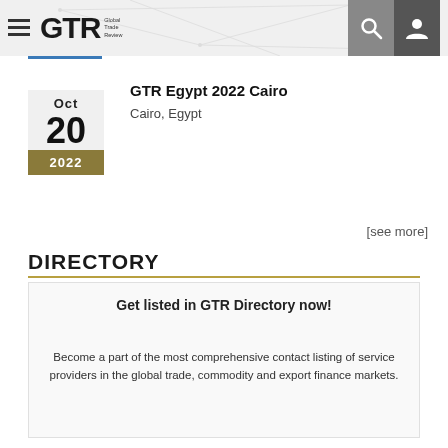GTR Global Trade Review
GTR Egypt 2022 Cairo
Cairo, Egypt
Oct 20 2022
[see more]
DIRECTORY
Get listed in GTR Directory now!
Become a part of the most comprehensive contact listing of service providers in the global trade, commodity and export finance markets.